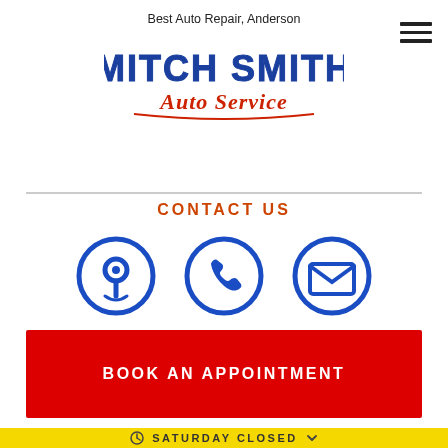[Figure (logo): Mitch Smith Auto Service logo with text 'Best Auto Repair, Anderson' above stylized blue and red logo]
[Figure (infographic): Three blue circle icons: map pin, phone, envelope — contact icons]
CONTACT US
BOOK AN APPOINTMENT
SATURDAY CLOSED
TAP TO CALL NOW
765-640-0237
FLEET FRONT END